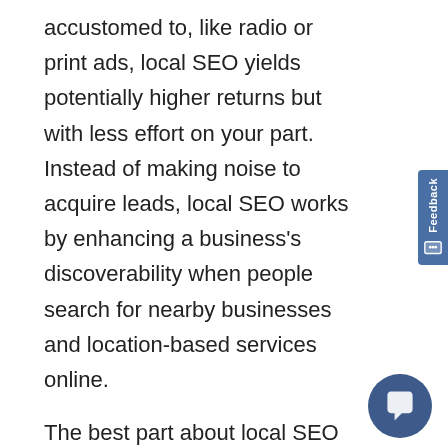accustomed to, like radio or print ads, local SEO yields potentially higher returns but with less effort on your part. Instead of making noise to acquire leads, local SEO works by enhancing a business's discoverability when people search for nearby businesses and location-based services online.
The best part about local SEO is that the learning curve is not so steep, so anyone can go the DIY route and achieve the desired results. Or you can skip the learning curve and hire an SEO agency in Virginia right away to maximize the benefits.